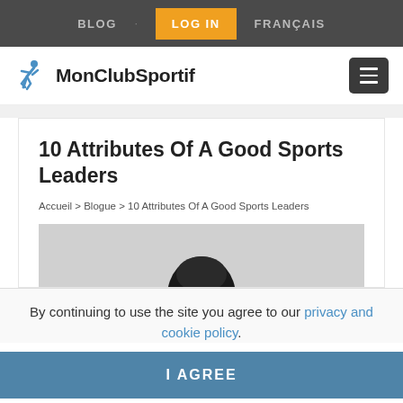BLOG · LOG IN FRANÇAIS
[Figure (logo): MonClubSportif logo with runner icon and hamburger menu button]
10 Attributes Of A Good Sports Leaders
Accueil > Blogue > 10 Attributes Of A Good Sports Leaders
[Figure (photo): Partial photo of a person's head from above, on grey background]
By continuing to use the site you agree to our privacy and cookie policy.
I AGREE